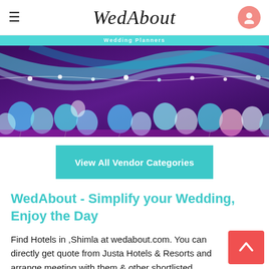WedAbout
[Figure (photo): Wedding decoration photo showing colorful balloons and fairy lights against a purple background with white ribbon draping]
View All Vendor Categories
WedAbout - Simplify your Wedding, Enjoy the Day
Find Hotels in ,Shimla at wedabout.com. You can directly get quote from Justa Hotels & Resorts and arrange meeting with them & other shortlisted vendor options.